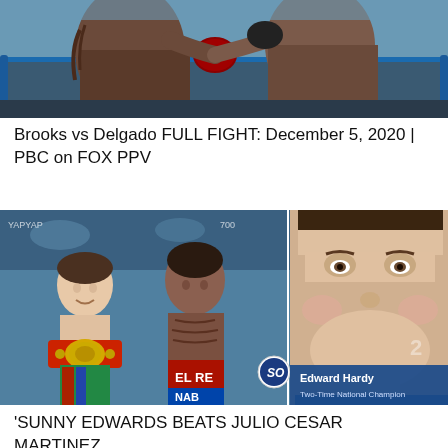[Figure (photo): Boxing match photo showing two boxers in the ring, shirtless, one throwing a punch, boxing ring ropes visible in background]
Brooks vs Delgado FULL FIGHT: December 5, 2020 | PBC on FOX PPV
[Figure (photo): Composite boxing photo: left side shows two boxers posing with championship belt, right side shows Edward Hardy, Two-Time National Champion, in a closeup interview shot with SO logo overlay]
'SUNNY EDWARDS BEATS JULIO CESAR MARTINEZ